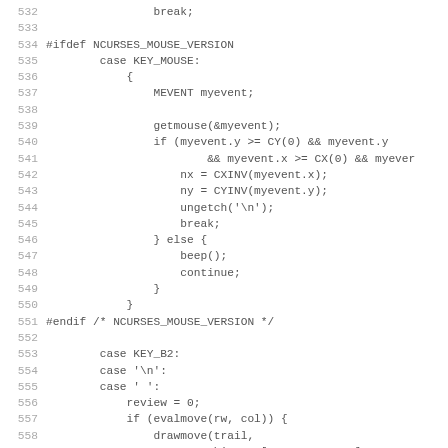Source code listing lines 532–563, C code with ncurses mouse handling and key handling logic